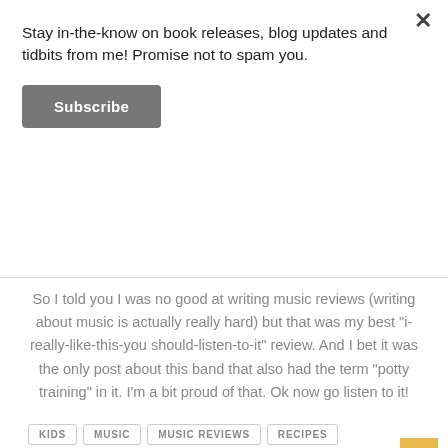Stay in-the-know on book releases, blog updates and tidbits from me! Promise not to spam you.
Subscribe
So I told you I was no good at writing music reviews (writing about music is actually really hard) but that was my best "i-really-like-this-you should-listen-to-it" review. And I bet it was the only post about this band that also had the term "potty training" in it. I'm a bit proud of that. Ok now go listen to it!
KIDS
MUSIC
MUSIC REVIEWS
RECIPES
UP TO TUESDAY
[Figure (other): Social share icon buttons: Facebook, Twitter, Pinterest, Google+, LinkedIn, WhatsApp, Email]
< OLDER    NEWER >